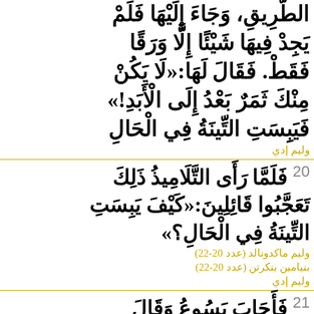الطريق، وجاء إليها فلم يجد فيها شيئًا إلا ورقًا فقط. فقال لها: «لا يكن منك ثمر بعد إلى الأبد!» فَيَبِسَتِ التِّينَةُ في الحَال
وليم إدي
20 فَلَمَّا رَأى التَّلامِيذُ ذلك تَعَجَّبُوا قائِلِين: «كَيْفَ يَبِسَتِ التِّينَةُ في الحَال؟»
وليم ماكدونالد (عدد 20-22)
بنيامين بنكرتن (عدد 20-22)
وليم إدي
21 فَأجابَ يَسُوعُ وَقالَ لَهُم: «الحَقَّ أقُولُ لَكُم: كَانَ لَكُم إيمانٌ وَلا تَشُكُّوا فَلا تَفْعَلُونَ أمْرَ التِّينَةِ فَ